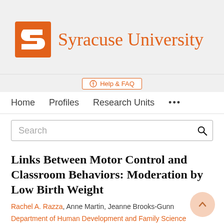[Figure (logo): Syracuse University logo: orange block letter S with Syracuse University text in orange serif font]
Help & FAQ
Home   Profiles   Research Units   ...
Search
Links Between Motor Control and Classroom Behaviors: Moderation by Low Birth Weight
Rachel A. Razza, Anne Martin, Jeanne Brooks-Gunn
Department of Human Development and Family Science